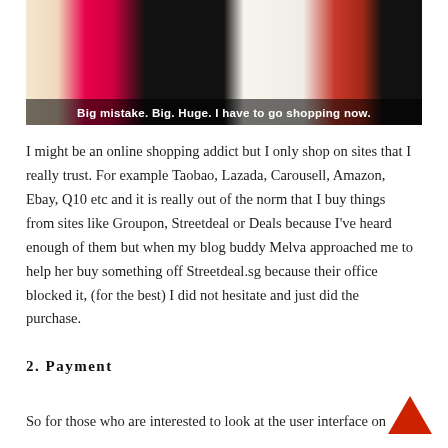[Figure (photo): A screenshot from a movie showing fashionable clothing with subtitle text overlay: 'Big mistake. Big. Huge. I have to go shopping now.']
I might be an online shopping addict but I only shop on sites that I really trust. For example Taobao, Lazada, Carousell, Amazon, Ebay, Q10 etc and it is really out of the norm that I buy things from sites like Groupon, Streetdeal or Deals because I've heard enough of them but when my blog buddy Melva approached me to help her buy something off Streetdeal.sg because their office blocked it, (for the best) I did not hesitate and just did the purchase.
2. Payment
So for those who are interested to look at the user interface on